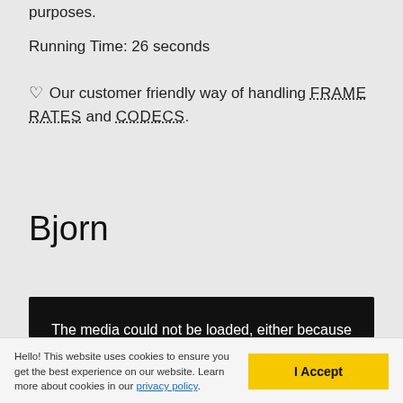purposes.
Running Time: 26 seconds
♡ Our customer friendly way of handling FRAME RATES and CODECS.
Bjorn
[Figure (screenshot): Black video player box showing error message: The media could not be loaded, either because the]
Hello! This website uses cookies to ensure you get the best experience on our website. Learn more about cookies in our privacy policy.